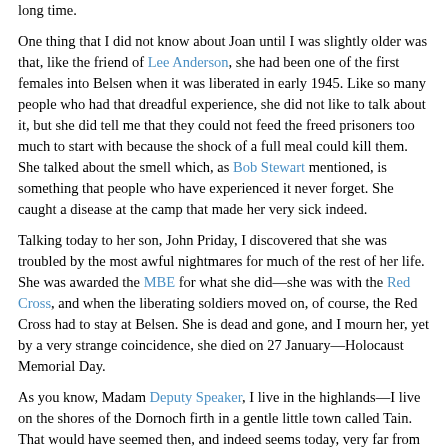long time.
One thing that I did not know about Joan until I was slightly older was that, like the friend of Lee Anderson, she had been one of the first females into Belsen when it was liberated in early 1945. Like so many people who had that dreadful experience, she did not like to talk about it, but she did tell me that they could not feed the freed prisoners too much to start with because the shock of a full meal could kill them. She talked about the smell which, as Bob Stewart mentioned, is something that people who have experienced it never forget. She caught a disease at the camp that made her very sick indeed.
Talking today to her son, John Priday, I discovered that she was troubled by the most awful nightmares for much of the rest of her life. She was awarded the MBE for what she did—she was with the Red Cross, and when the liberating soldiers moved on, of course, the Red Cross had to stay at Belsen. She is dead and gone, and I mourn her, yet by a very strange coincidence, she died on 27 January—Holocaust Memorial Day.
As you know, Madam Deputy Speaker, I live in the highlands—I live on the shores of the Dornoch firth in a gentle little town called Tain. That would have seemed then, and indeed seems today, very far from the horrors that were going on in Europe during the second world war, yet what my cousin, Joan Priday, said to me has been a useful reminder to me as an